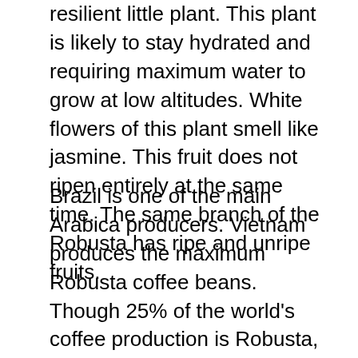resilient little plant. This plant is likely to stay hydrated and requiring maximum water to grow at low altitudes. White flowers of this plant smell like jasmine. This fruit does not ripen entirely at the same time. The same branch of the Robusta has ripe and unripe fruits.
Brazil is one of the main Arabica producers. Vietnam produces the maximum Robusta coffee beans. Though 25% of the world's coffee production is Robusta, many people worldwide like this flavour and seek where to get high-quality yet affordable Robusta coffee bean packs. The Chlorogenic acid content in the Robusta is 7 to 10% and Arabica is 5 to 5.8%. The height of the Arabica plant is from 2.5to 4.5 meters when compared to 4.5 to 6 meters height of Robusta plant. Arabica beans are more oval and